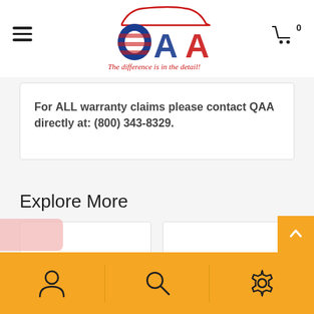[Figure (logo): QAA logo with American flag design, car silhouette, and tagline 'The difference is in the detail!']
For ALL warranty claims please contact QAA directly at: (800) 343-8329.
Explore More
[Figure (screenshot): Two white card placeholders side by side under Explore More section]
[Figure (infographic): Bottom navigation bar with person, search, and settings icons on yellow/orange background]